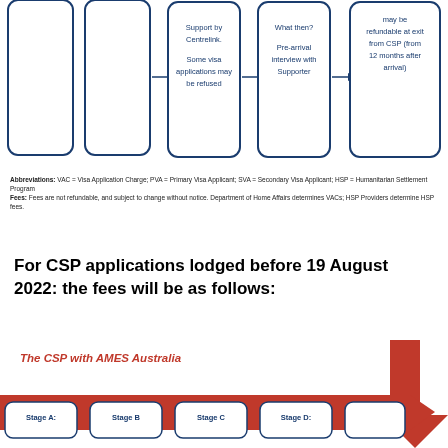[Figure (flowchart): Partial flowchart showing steps of the CSP process with rounded rectangle boxes and arrows. Visible boxes contain text: 'Support by Centrelink. Some visa applications may be refused', 'What then? Pre-arrival interview with Supporter', and 'may be refundable at exit from CSP (from 12 months after arrival)'. Two empty boxes also visible on the left.]
Abbreviations: VAC = Visa Application Charge; PVA = Primary Visa Applicant; SVA = Secondary Visa Applicant; HSP = Humanitarian Settlement Program
Fees: Fees are not refundable, and subject to change without notice. Department of Home Affairs determines VACs; HSP Providers determine HSP fees.
For CSP applications lodged before 19 August 2022: the fees will be as follows:
[Figure (flowchart): Bottom portion of a CSP with AMES Australia flowchart. Red banner/arrow shape across the bottom with stage boxes: 'Stage A:', 'Stage B', 'Stage C', 'Stage D:', and a fifth partially visible box. A large red arrow points upward on the right side.]